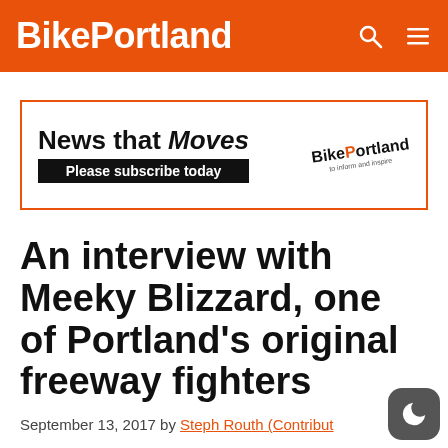BikePortland
[Figure (other): BikePortland advertisement banner: 'News that Moves — Please subscribe today' with BikePortland logo]
An interview with Meeky Blizzard, one of Portland's original freeway fighters
September 13, 2017 by Steph Routh (Contribut…